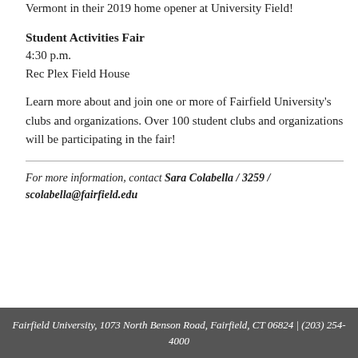Vermont in their 2019 home opener at University Field!
Student Activities Fair
4:30 p.m.
Rec Plex Field House
Learn more about and join one or more of Fairfield University's clubs and organizations. Over 100 student clubs and organizations will be participating in the fair!
For more information, contact Sara Colabella / 3259 / scolabella@fairfield.edu
Fairfield University, 1073 North Benson Road, Fairfield, CT 06824 | (203) 254-4000